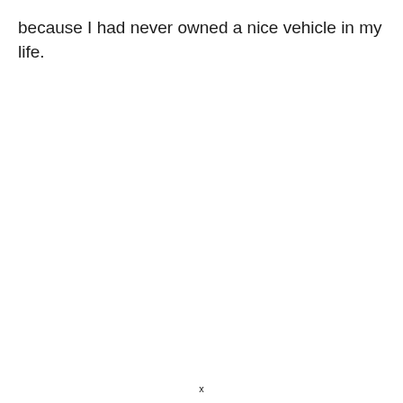because I had never owned a nice vehicle in my life.
x